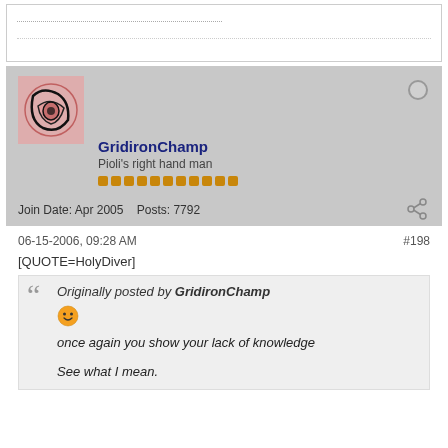[Figure (screenshot): Top section with dotted lines suggesting previous post content]
[Figure (photo): User avatar: hand-drawn pink/red circular eye-like illustration with bold outline]
GridironChamp
Pioli's right hand man
Join Date: Apr 2005    Posts: 7792
06-15-2006, 09:28 AM
#198
[QUOTE=HolyDiver]
Originally posted by GridironChamp
once again you show your lack of knowledge

See what I mean.